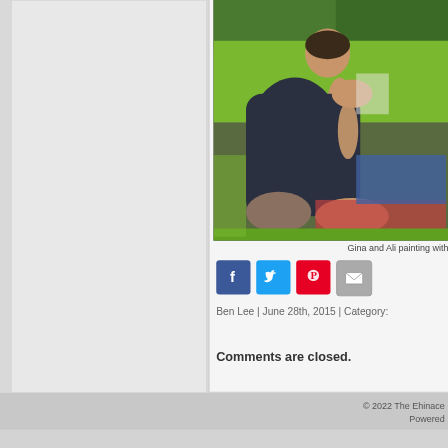[Figure (photo): Photo of Gina and Ali painting with watercolors outdoors on grass in a park, taken from above/side angle]
Gina and Ali painting with
[Figure (infographic): Social sharing icons: Facebook (blue), Twitter (light blue), Pinterest (red), Email (gray)]
Ben Lee | June 28th, 2015 | Category:
Comments are closed.
© 2022 The Echinacea
Powered